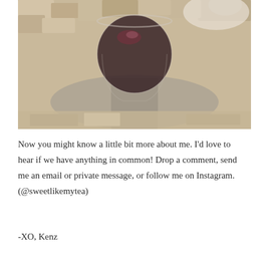[Figure (photo): A stemless wine glass filled with red wine sitting on a textured shaggy rug with a dog visible in the background.]
Now you might know a little bit more about me. I'd love to hear if we have anything in common! Drop a comment, send me an email or private message, or follow me on Instagram. (@sweetlikemytea)
-XO, Kenz